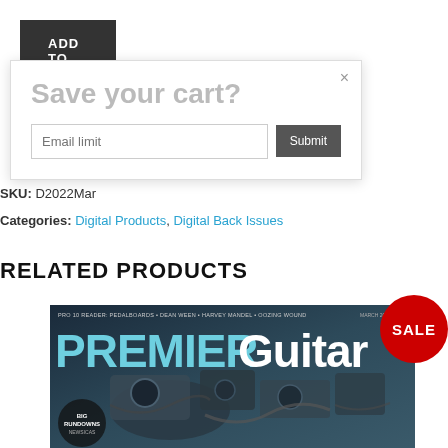ADD TO CART
Save your cart?
SKU: D2022Mar
Categories: Digital Products, Digital Back Issues
RELATED PRODUCTS
[Figure (photo): Premier Guitar magazine cover showing pedalboard equipment with PREMIER in teal and Guitar in white text. Top text reads: PRO 10 READER PEDALBOARDS • DEAN WEEN • HARVEY MANDEL • OOZING WOUND. Bottom left circular badge: BIG RUNDOWNS. Red SALE badge visible at top right of image.]